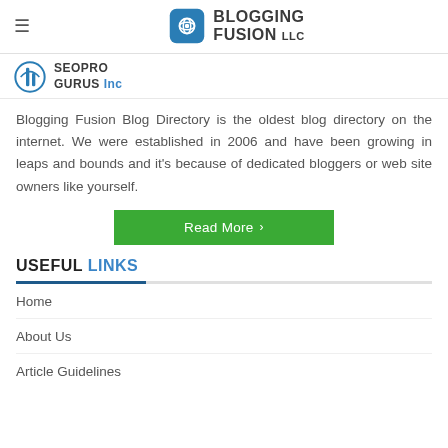BLOGGING FUSION LLC
[Figure (logo): SEO Pro Gurus Inc logo with circular icon]
Blogging Fusion Blog Directory is the oldest blog directory on the internet. We were established in 2006 and have been growing in leaps and bounds and it's because of dedicated bloggers or web site owners like yourself.
Read More →
USEFUL LINKS
Home
About Us
Article Guidelines